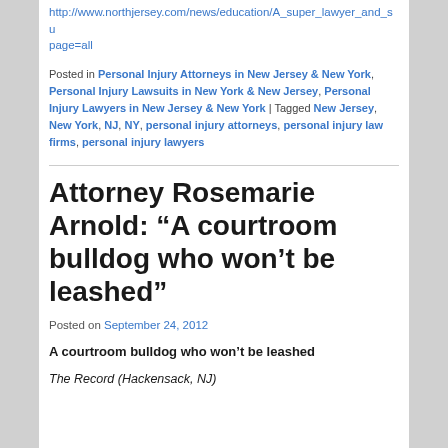http://www.northjersey.com/news/education/A_super_lawyer_and_su page=all
Posted in Personal Injury Attorneys in New Jersey & New York, Personal Injury Lawsuits in New York & New Jersey, Personal Injury Lawyers in New Jersey & New York | Tagged New Jersey, New York, NJ, NY, personal injury attorneys, personal injury law firms, personal injury lawyers
Attorney Rosemarie Arnold: “A courtroom bulldog who won’t be leashed”
Posted on September 24, 2012
A courtroom bulldog who won’t be leashed
The Record (Hackensack, NJ)